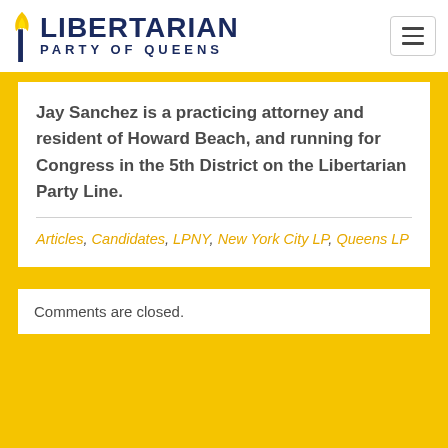LIBERTARIAN PARTY OF QUEENS
Jay Sanchez is a practicing attorney and resident of Howard Beach, and running for Congress in the 5th District on the Libertarian Party Line.
Articles, Candidates, LPNY, New York City LP, Queens LP
Comments are closed.